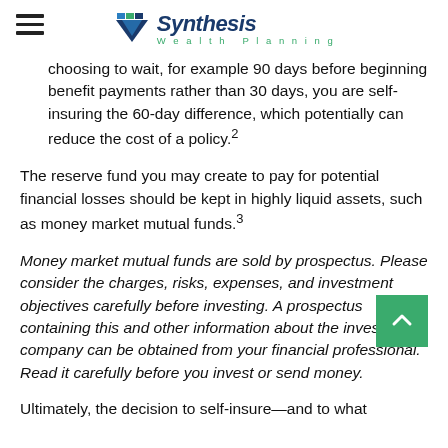Synthesis Wealth Planning
choosing to wait, for example 90 days before beginning benefit payments rather than 30 days, you are self-insuring the 60-day difference, which potentially can reduce the cost of a policy.2
The reserve fund you may create to pay for potential financial losses should be kept in highly liquid assets, such as money market mutual funds.3
Money market mutual funds are sold by prospectus. Please consider the charges, risks, expenses, and investment objectives carefully before investing. A prospectus containing this and other information about the investment company can be obtained from your financial professional. Read it carefully before you invest or send money.
Ultimately, the decision to self-insure—and to what